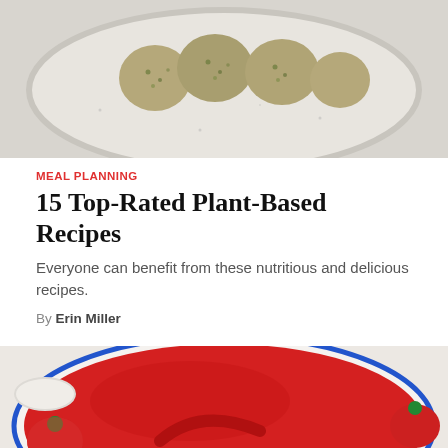[Figure (photo): Food photo showing breaded plant-based balls/meatballs on a white speckled ceramic plate, on a light gray surface]
MEAL PLANNING
15 Top-Rated Plant-Based Recipes
Everyone can benefit from these nutritious and delicious recipes.
By Erin Miller
[Figure (photo): Close-up food photo of a red strawberry sorbet or puree in a white bowl with blue rim, surrounded by fresh strawberries on a white surface]
[Figure (photo): Partial food photo showing a pink strawberry cream or smoothie in a white bowl]